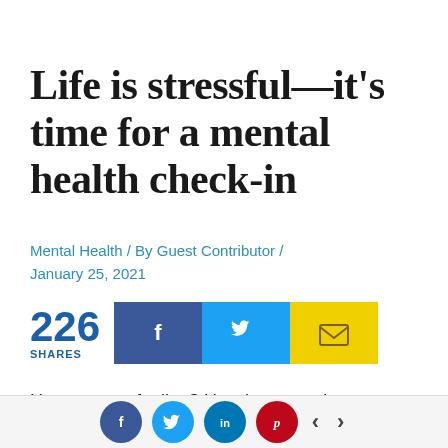Life is stressful—it's time for a mental health check-in
Mental Health / By Guest Contributor / January 25, 2021
226 SHARES
How are you feeling? How have you been feeling the past week? Most importantly, what
f  (Twitter bird)  in  (Pinterest)  <  >